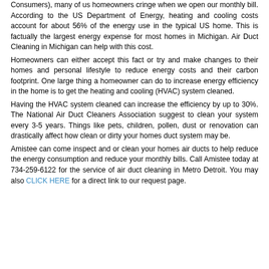Consumers), many of us homeowners cringe when we open our monthly bill. According to the US Department of Energy, heating and cooling costs account for about 56% of the energy use in the typical US home. This is factually the largest energy expense for most homes in Michigan. Air Duct Cleaning in Michigan can help with this cost.
Homeowners can either accept this fact or try and make changes to their homes and personal lifestyle to reduce energy costs and their carbon footprint. One large thing a homeowner can do to increase energy efficiency in the home is to get the heating and cooling (HVAC) system cleaned.
Having the HVAC system cleaned can increase the efficiency by up to 30%. The National Air Duct Cleaners Association suggest to clean your system every 3-5 years. Things like pets, children, pollen, dust or renovation can drastically affect how clean or dirty your homes duct system may be.
Amistee can come inspect and or clean your homes air ducts to help reduce the energy consumption and reduce your monthly bills. Call Amistee today at 734-259-6122 for the service of air duct cleaning in Metro Detroit. You may also CLICK HERE for a direct link to our request page.